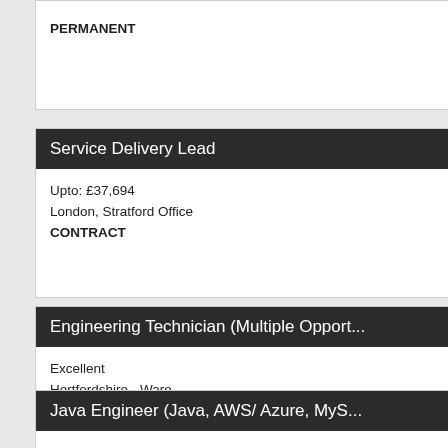PERMANENT
Service Delivery Lead
Upto: £37,694
London, Stratford Office
CONTRACT
Engineering Technician (Multiple Opport...
Excellent
Hertfordshire - Ware
PERMANENT
Java Engineer (Java, AWS/ Azure, MyS...
From: £56,480